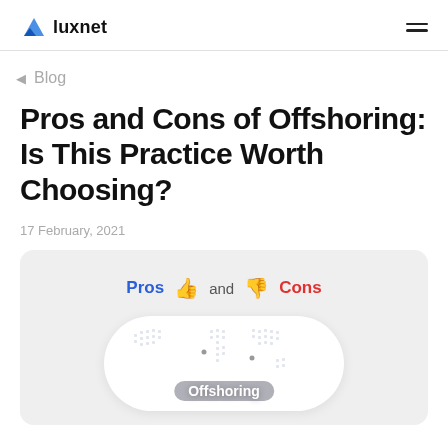luxnet
Blog
Pros and Cons of Offshoring: Is This Practice Worth Choosing?
17 February, 2021
[Figure (illustration): Hero illustration showing 'Pros' in blue with thumbs up emoji and 'Cons' in red with thumbs down emoji, with a world map inside a pill-shaped container labeled 'Offshoring']